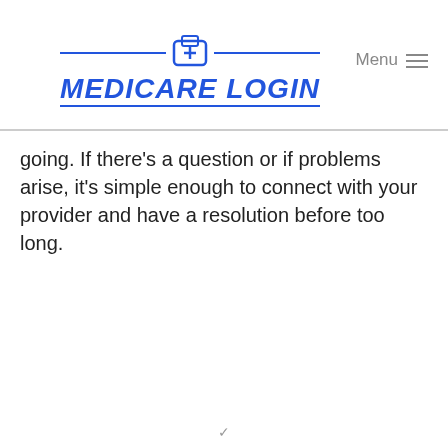[Figure (logo): Medicare Login logo with medical cross icon, blue color, decorative lines above and below the title text]
going. If there's a question or if problems arise, it's simple enough to connect with your provider and have a resolution before too long.